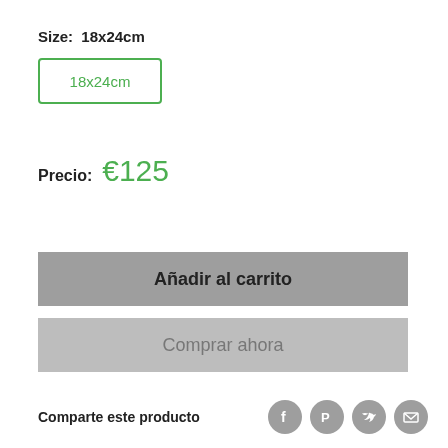Size:  18x24cm
18x24cm
Precio:  €125
Añadir al carrito
Comprar ahora
Comparte este producto